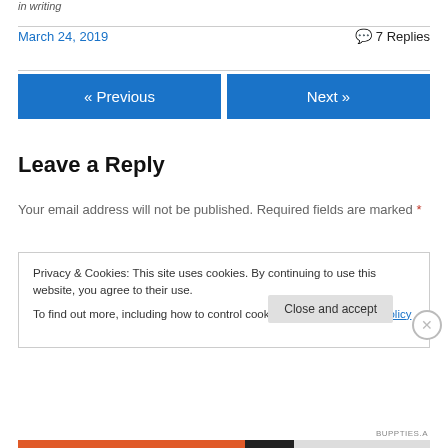in writing
March 24, 2019   7 Replies
« Previous   Next »
Leave a Reply
Your email address will not be published. Required fields are marked *
Privacy & Cookies: This site uses cookies. By continuing to use this website, you agree to their use.
To find out more, including how to control cookies, see here: Cookie Policy
Close and accept